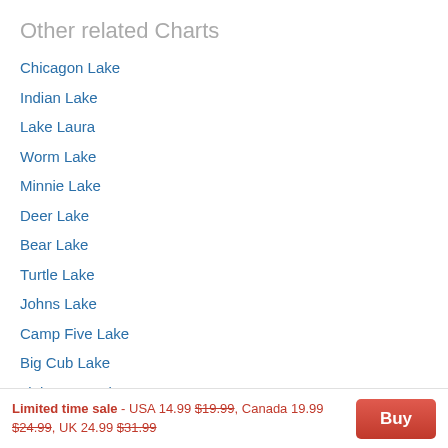Other related Charts
Chicagon Lake
Indian Lake
Lake Laura
Worm Lake
Minnie Lake
Deer Lake
Bear Lake
Turtle Lake
Johns Lake
Camp Five Lake
Big Cub Lake
Little Bear Lake
Limited time sale - USA 14.99 $19.99, Canada 19.99 $24.99, UK 24.99 $31.99